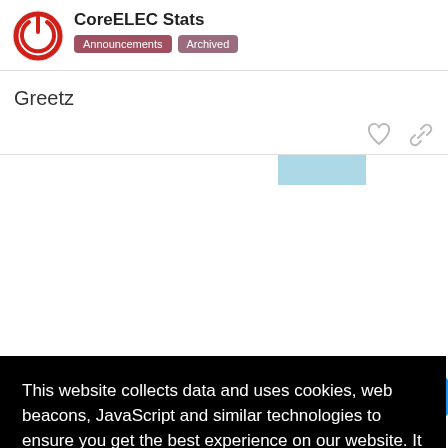CoreELEC Stats
Announcements    Archived
Greetz
This website collects data and uses cookies, web beacons, JavaScript and similar technologies to ensure you get the best experience on our website. It doesn't use any 3rd party cookies but only technically necessary ones.  Learn more
Got it!
2
5 Jul
0
21d
5
for S905/W/X video acceleration